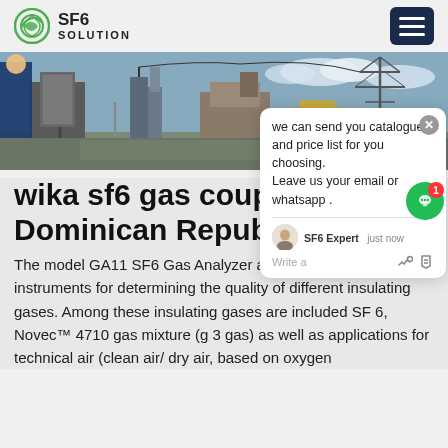SF6 SOLUTION
[Figure (photo): Outdoor electrical substation with SF6 gas equipment, power lines in background, worker visible on left side]
wika sf6 gas coupl Dominican Repub
The model GA11 SF6 Gas Analyzer are innovative and reliable instruments for determining the quality of different insulating gases. Among these insulating gases are included SF 6, Novec™ 4710 gas mixture (g 3 gas) as well as applications for technical air (clean air/ dry air, based on oxygen